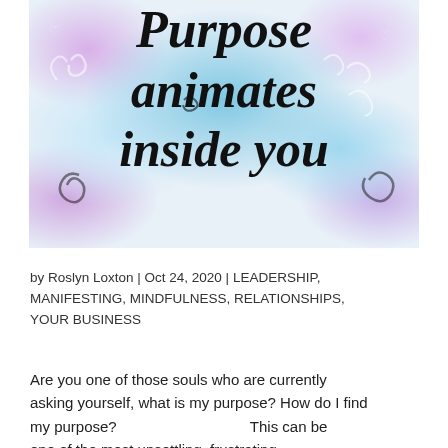[Figure (illustration): Decorative image with pastel blue, pink and purple watercolor background with white swirls, hearts and doodles. Large script text reads 'Purpose animates inside you' in bold black cursive font.]
by Roslyn Loxton | Oct 24, 2020 | LEADERSHIP, MANIFESTING, MINDFULNESS, RELATIONSHIPS, YOUR BUSINESS
Are you one of those souls who are currently asking yourself, what is my purpose? How do I find my purpose?                              This can be one of the most unsettling, frustrating